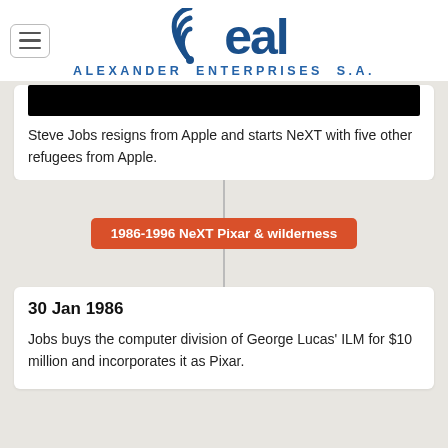[Figure (logo): Alexander Enterprises S.A. logo with wifi-like arc icon and 'eal' text in dark blue, subtitle 'ALEXANDER ENTERPRISES S.A.' below]
[Figure (photo): Partially visible black image bar at the top of a card]
Steve Jobs resigns from Apple and starts NeXT with five other refugees from Apple.
1986-1996 NeXT Pixar & wilderness
30 Jan 1986
Jobs buys the computer division of George Lucas' ILM for $10 million and incorporates it as Pixar.